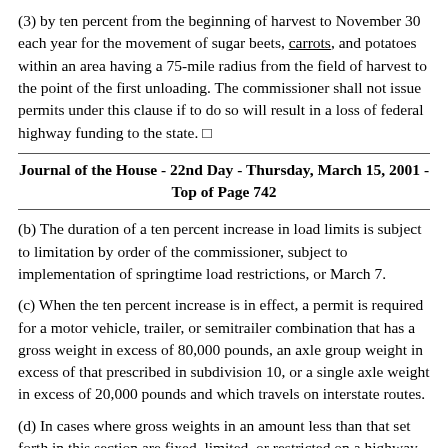(3) by ten percent from the beginning of harvest to November 30 each year for the movement of sugar beets, carrots, and potatoes within an area having a 75-mile radius from the field of harvest to the point of the first unloading. The commissioner shall not issue permits under this clause if to do so will result in a loss of federal highway funding to the state. □
Journal of the House - 22nd Day - Thursday, March 15, 2001 - Top of Page 742
(b) The duration of a ten percent increase in load limits is subject to limitation by order of the commissioner, subject to implementation of springtime load restrictions, or March 7.
(c) When the ten percent increase is in effect, a permit is required for a motor vehicle, trailer, or semitrailer combination that has a gross weight in excess of 80,000 pounds, an axle group weight in excess of that prescribed in subdivision 10, or a single axle weight in excess of 20,000 pounds and which travels on interstate routes.
(d) In cases where gross weights in an amount less than that set forth in this section are fixed, limited, or restricted on a highway or bridge by or under another section of this chapter, the lesser gross weight as fixed, limited, or restricted may not be exceeded and